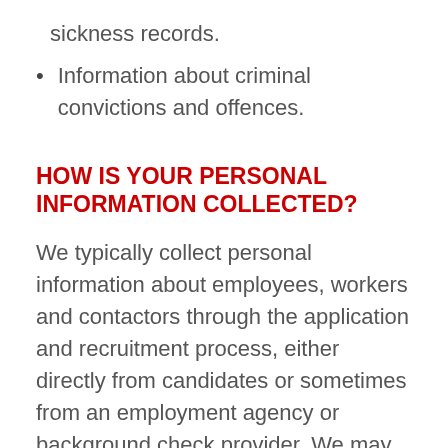sickness records.
Information about criminal convictions and offences.
HOW IS YOUR PERSONAL INFORMATION COLLECTED?
We typically collect personal information about employees, workers and contactors through the application and recruitment process, either directly from candidates or sometimes from an employment agency or background check provider. We may sometimes collect additional information